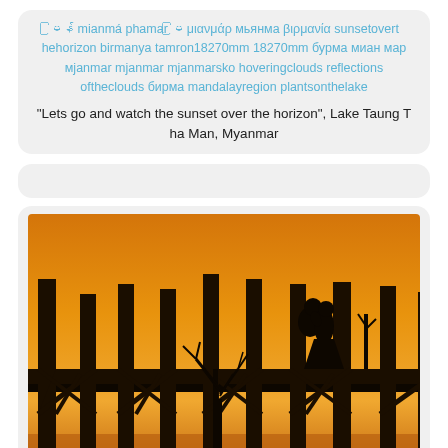မြန် mianmá phamar မြ μιανμάρ мьянма βιρμανία sunsetovert hehorizon birmanya tamron18270mm 18270mm бурма миан мар мjanmar mjanmar mjanmarsko hoveringclouds reflections oftheclouds бирма mandalayregion plantsonthelake
"Lets go and watch the sunset over the horizon", Lake Taung Tha Man, Myanmar
[Figure (photo): Silhouette of two people standing close together on a wooden teak bridge (U Bein Bridge) at sunset, with warm orange sky background and bare tree silhouettes visible. Multiple wooden bridge pillars and cross-braces are visible as dark silhouettes.]